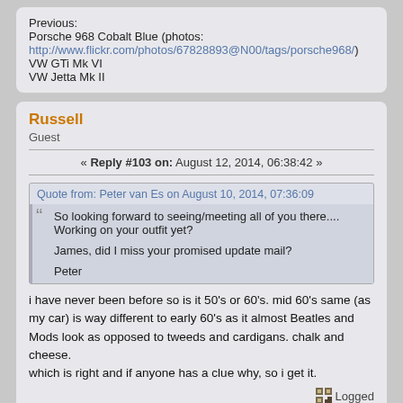Previous:
Porsche 968 Cobalt Blue (photos: http://www.flickr.com/photos/67828893@N00/tags/porsche968/)
VW GTi Mk VI
VW Jetta Mk II
Russell
Guest
« Reply #103 on: August 12, 2014, 06:38:42 »
Quote from: Peter van Es on August 10, 2014, 07:36:09
So looking forward to seeing/meeting all of you there.... Working on your outfit yet?

James, did I miss your promised update mail?

Peter
i have never been before so is it 50's or 60's. mid 60's same (as my car) is way different to early 60's as it almost Beatles and Mods look as opposed to tweeds and cardigans. chalk and cheese.
which is right and if anyone has a clue why, so i get it.
Logged
Larry & Norma